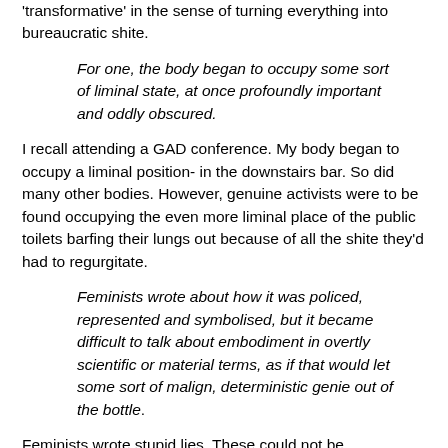'transformative' in the sense of turning everything into bureaucratic shite.
For one, the body began to occupy some sort of liminal state, at once profoundly important and oddly obscured.
I recall attending a GAD conference. My body began to occupy a liminal position- in the downstairs bar. So did many other bodies. However, genuine activists were to be found occupying the even more liminal place of the public toilets barfing their lungs out because of all the shite they'd had to regurgitate.
Feminists wrote about how it was policed, represented and symbolised, but it became difficult to talk about embodiment in overtly scientific or material terms, as if that would let some sort of malign, deterministic genie out of the bottle.
Feminists wrote stupid lies. These could not be represented in 'scientific or material' terms. That is the problem with